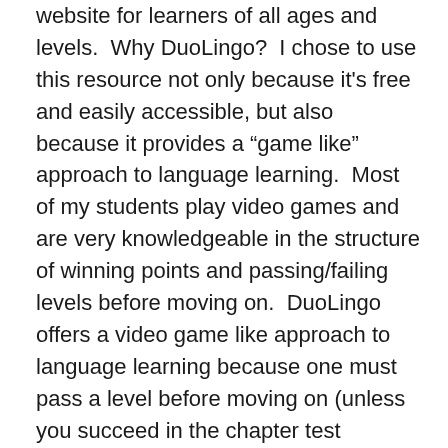website for learners of all ages and levels.  Why DuoLingo?  I chose to use this resource not only because it's free and easily accessible, but also because it provides a “game like” approach to language learning.  Most of my students play video games and are very knowledgeable in the structure of winning points and passing/failing levels before moving on.  DuoLingo offers a video game like approach to language learning because one must pass a level before moving on (unless you succeed in the chapter test challenge).  DuoLingo also provides the learner with four hearts per level; every time the learner makes a mistake a heart disappears (if the learner runs out of hearts he/she must start the level again.  Learners can also gain hearts back by correcting errors).  Finally, DuoLingo is interactive; the program has the learner typing, speaking and listening in the language he/she is